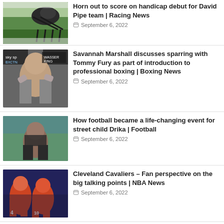Horn out to score on handicap debut for David Pipe team | Racing News — September 6, 2022
Savannah Marshall discusses sparring with Tommy Fury as part of introduction to professional boxing | Boxing News — September 6, 2022
How football became a life-changing event for street child Drika | Football — September 6, 2022
Cleveland Cavaliers – Fan perspective on the big talking points | NBA News — September 6, 2022
Russia to buy North Korean artillery shells, rockets: Report | Russia-Ukraine war News — September 6, 2022